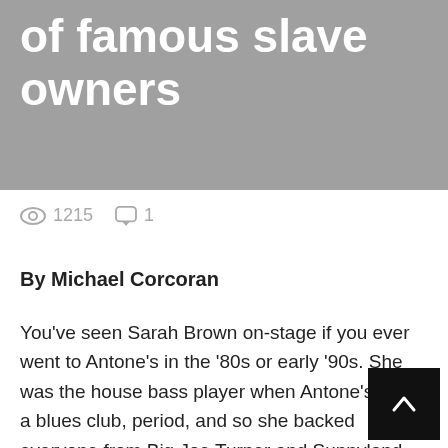of famous slave owners
1215   1
By Michael Corcoran
You've seen Sarah Brown on-stage if you ever went to Antone's in the '80s or early '90s. She was the house bass player when Antone's was a blues club, period, and so she backed everyone from Big Joe Turner and Sunnyland Slim to Buddy Guy and Albert Collins and O Rush. For almost 30 years, Brown has been one of Austin's most valuable – and visible –